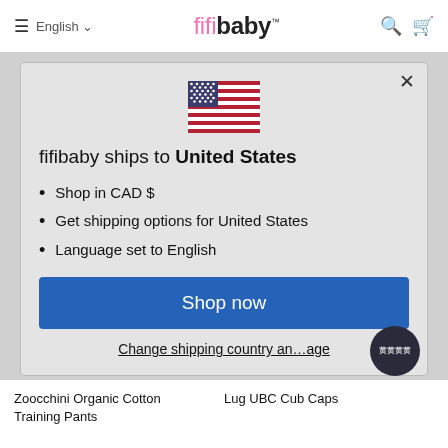≡  English ∨   fifibaby™   🔍  🛒
[Figure (illustration): US flag emoji/icon centered in modal]
fifibaby ships to United States
Shop in CAD $
Get shipping options for United States
Language set to English
Shop now
Change shipping country and language
Zoocchini Organic Cotton Training Pants
Lug UBC Cub Caps